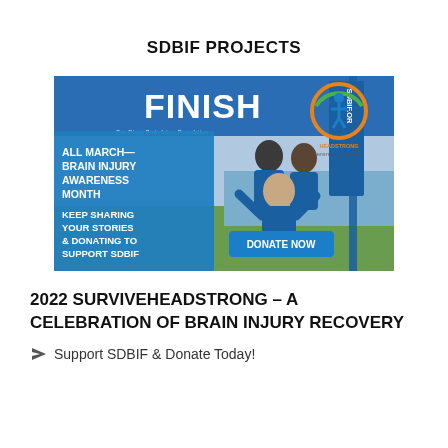SDBIF PROJECTS
[Figure (photo): SDBIF SurviveHeadstrong event photo showing participants in blue shirts at a finish line banner, with text overlays: 'ALL MARCH— BRAIN INJURY AWARENESS MONTH', 'KEEP SHARING YOUR STORIES & DONATING TO SUPPORT SDBIF', 'DONATE NOW' button, and SurviveHeadstrong / GoDaddy logo in upper right.]
2022 SURVIVEHEADSTRONG – A CELEBRATION OF BRAIN INJURY RECOVERY
Support SDBIF & Donate Today!